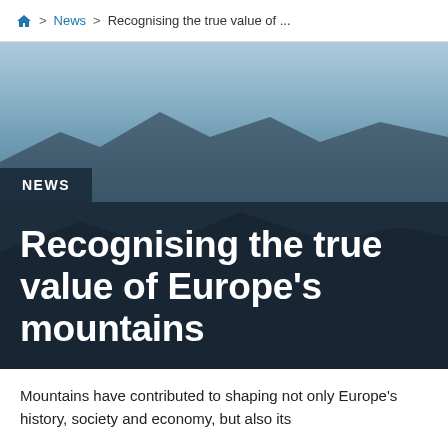Home > News > Recognising the true value of ...
[Figure (photo): Blue sky mountain landscape background image, partially obscured]
NEWS
Recognising the true value of Europe's mountains
Mountains have contributed to shaping not only Europe's history, society and economy, but also its